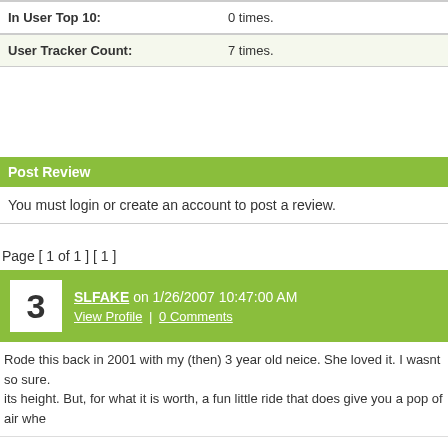| In User Top 10: | 0 times. |
| User Tracker Count: | 7 times. |
Post Review
You must login or create an account to post a review.
Page [ 1 of 1 ] [ 1 ]
SLFAKE on 1/26/2007 10:47:00 AM
View Profile | 0 Comments
Rode this back in 2001 with my (then) 3 year old neice. She loved it. I wasnt so sure. its height. But, for what it is worth, a fun little ride that does give you a pop of air whe
Canobie Coaster on 9/24/2006 11:09:00 AM
View Profile | 0 Comments